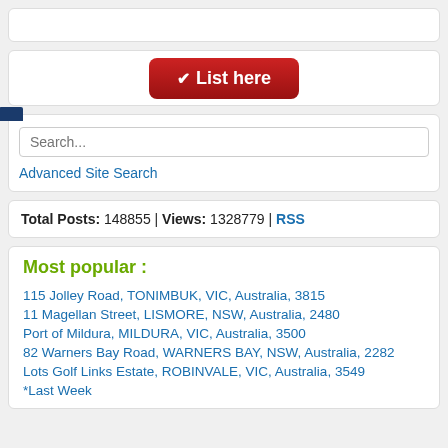[Figure (other): Empty input field (text box)]
[Figure (other): Card with red 'List here' button with checkmark]
[Figure (other): Search box with blue tab and 'Search...' placeholder, plus 'Advanced Site Search' link]
Total Posts: 148855 | Views: 1328779 | RSS
Most popular :
115 Jolley Road, TONIMBUK, VIC, Australia, 3815
11 Magellan Street, LISMORE, NSW, Australia, 2480
Port of Mildura, MILDURA, VIC, Australia, 3500
82 Warners Bay Road, WARNERS BAY, NSW, Australia, 2282
Lots Golf Links Estate, ROBINVALE, VIC, Australia, 3549
*Last Week